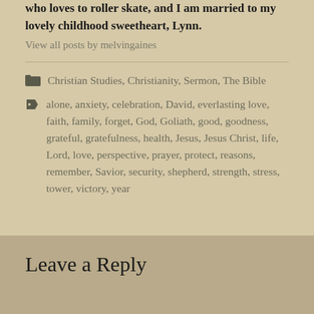who loves to roller skate, and I am married to my lovely childhood sweetheart, Lynn.
View all posts by melvingaines
Christian Studies, Christianity, Sermon, The Bible
alone, anxiety, celebration, David, everlasting love, faith, family, forget, God, Goliath, good, goodness, grateful, gratefulness, health, Jesus, Jesus Christ, life, Lord, love, perspective, prayer, protect, reasons, remember, Savior, security, shepherd, strength, stress, tower, victory, year
Leave a Reply